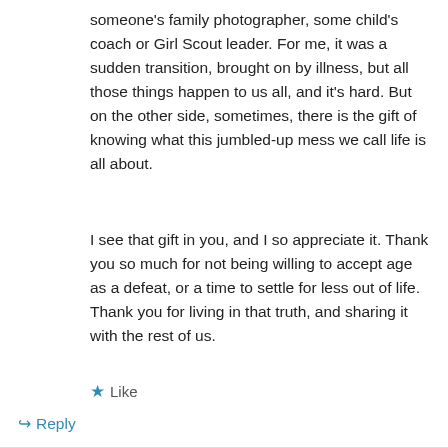someone's family photographer, some child's coach or Girl Scout leader. For me, it was a sudden transition, brought on by illness, but all those things happen to us all, and it's hard. But on the other side, sometimes, there is the gift of knowing what this jumbled-up mess we call life is all about.
I see that gift in you, and I so appreciate it. Thank you so much for not being willing to accept age as a defeat, or a time to settle for less out of life. Thank you for living in that truth, and sharing it with the rest of us.
★ Like
↳ Reply